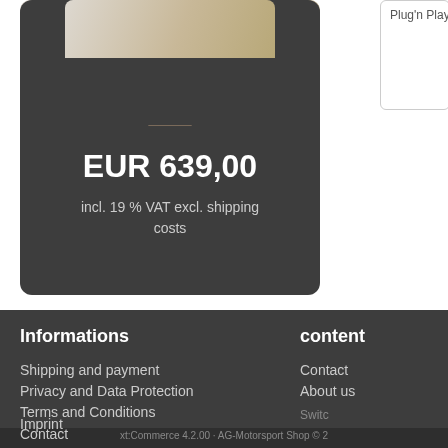[Figure (photo): Product image of automotive part on gray background, partially visible at top]
EUR 639,00
incl. 19 % VAT excl. shipping costs
Plug'n Play exchange for the
Informations
content
Shipping and payment
Privacy and Data Protection
Terms and Conditions
Imprint
Contact
Contact
About us
Switc
xt:Commerce 4.2.00 · AG-Motorsport Shop © 2